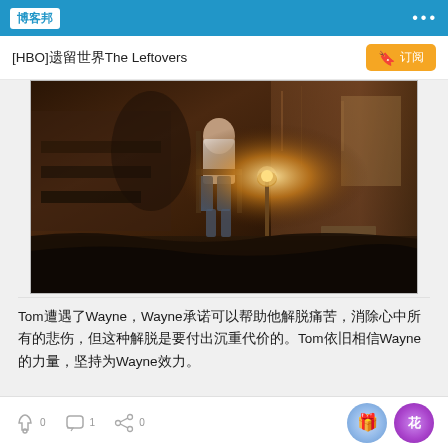博客邦
[HBO]遗留世界The Leftovers
[Figure (photo): Dark moody scene from HBO show The Leftovers, showing a person sitting on a chair in a dimly lit room with a lamp, dark fabric/bedding in the foreground]
Tom遭遇了Wayne，Wayne承诺可以帮助他解脱痛苦，消除心中所有的悲伤，但这种解脱是要付出沉重代价的。Tom依旧相信Wayne的力量，坚持为Wayne效力。
0 likes · 1 comment · 0 shares